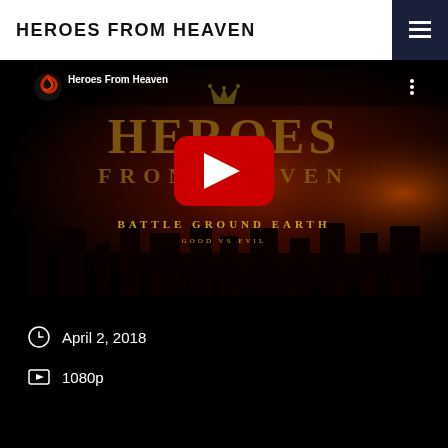HEROES FROM HEAVEN
[Figure (screenshot): YouTube video thumbnail for 'Heroes From Heaven' showing the title in stylized gold text with 'BATTLE GROUND EARTH - GOOD VS EVIL' subtitle on a dark fiery background, with a red YouTube play button overlay and channel icon]
April 2, 2018
1080p